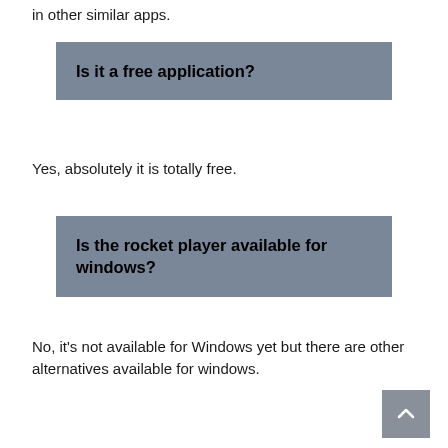in other similar apps.
Is it a free application?
Yes, absolutely it is totally free.
Is the rocket player available for windows?
No, it's not available for Windows yet but there are other alternatives available for windows.